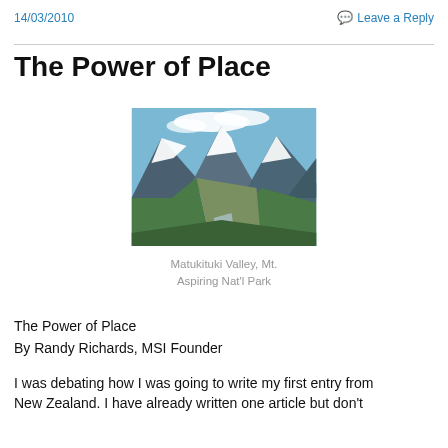14/03/2010
💬 Leave a Reply
The Power of Place
[Figure (photo): Scenic mountain valley with snow-capped peaks, green forested slopes, and a river running through the valley floor. Matukituki Valley, Mt. Aspiring Nat'l Park]
Matukituki Valley, Mt. Aspiring Nat'l Park
The Power of Place
By Randy Richards, MSI Founder
I was debating how I was going to write my first entry from New Zealand. I have already written one article but don't